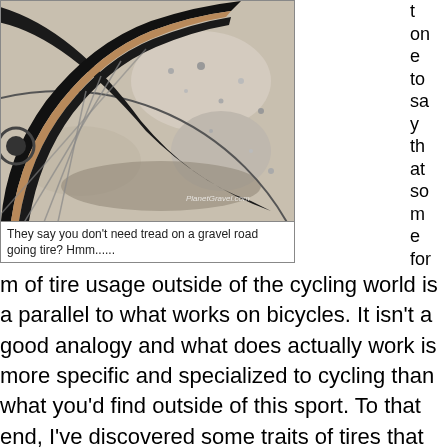[Figure (photo): Close-up photograph of a bicycle tire on a gravel/dirt surface, showing the tire tread and wheel from ground level. Photo credit watermark reads 'PlanetGravel.com']
They say you don't need tread on a gravel road going tire? Hmm......
t one to say that some for
m of tire usage outside of the cycling world is a parallel to what works on bicycles. It isn't a good analogy and what does actually work is more specific and specialized to cycling than what you'd find outside of this sport. To that end, I've discovered some traits of tires that seem to lend a helping hand to riders on dirt and gravel over the years. Some things are obvious, some not so much.
In the gravel going arena, I find that a tire totally devoid of tread isn't the very best idea, and neither is one that has all